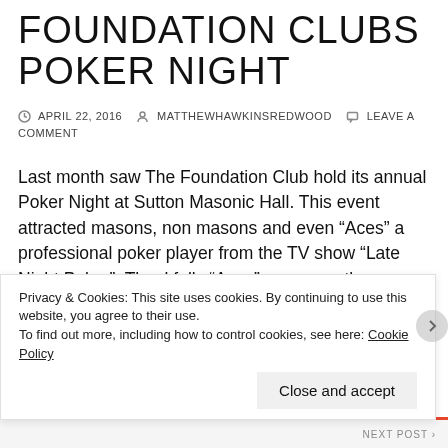FOUNDATION CLUBS POKER NIGHT
APRIL 22, 2016   MATTHEWHAWKINSREDWOOD   LEAVE A COMMENT
Last month saw The Foundation Club hold its annual Poker Night at Sutton Masonic Hall. This event attracted masons, non masons and even “Aces” a professional poker player from the TV show “Late Night Poker”. Thankfully “Aces” was a gentlemen and taught us a trick or two, without taking our money. There was fierce competition throughout the evening, but ultimately it come down to a show down between myself and Nick the chairman. Nick won! The top three decided to
Privacy & Cookies: This site uses cookies. By continuing to use this website, you agree to their use.
To find out more, including how to control cookies, see here: Cookie Policy
Close and accept